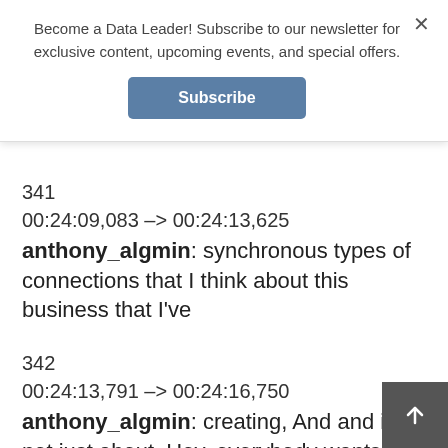Become a Data Leader! Subscribe to our newsletter for exclusive content, upcoming events, and special offers.
Subscribe
341
00:24:09,083 -> 00:24:13,625
anthony_algmin: synchronous types of connections that I think about this business that I've
342
00:24:13,791 -> 00:24:16,750
anthony_algmin: creating, And and it's not just about. Hey, everybody wants to be the next